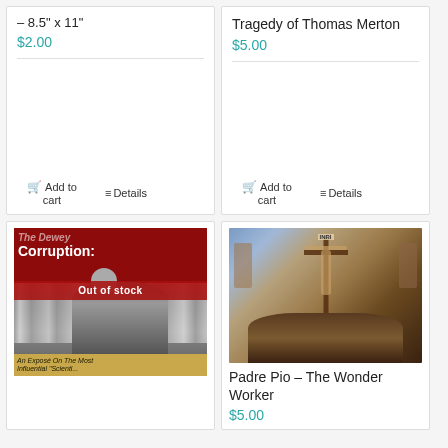– 8.5" x 11"
$2.00
Add to cart
Details
Tragedy of Thomas Merton
$5.00
Add to cart
Details
[Figure (photo): Book cover: The Dewey Corruption with red and dark background, man in suit with bowtie, bookshelf behind. 'Out of stock' overlay banner.]
[Figure (photo): Crucifixion image with Jesus on cross and religious artwork in background, and partial face of person at bottom.]
Padre Pio – The Wonder Worker
$5.00